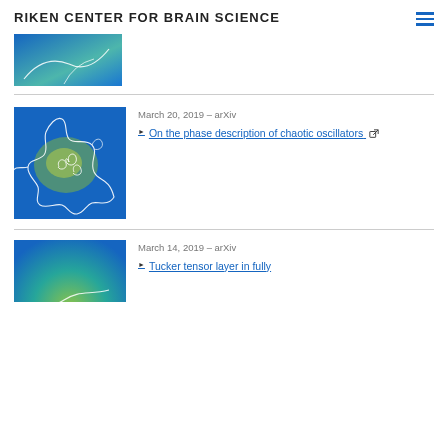RIKEN CENTER FOR BRAIN SCIENCE
[Figure (illustration): Partial view of a blue-green gradient scientific illustration with white curved lines on a blue background (cropped at top).]
[Figure (illustration): Blue-to-green gradient background with a complex white continuous looping/chaotic line drawing resembling a tangled neural path or phase portrait of a chaotic oscillator.]
March 20, 2019 – arXiv
On the phase description of chaotic oscillators
[Figure (illustration): Partial view of a blue-green gradient scientific illustration (cropped at bottom of page).]
March 14, 2019 – arXiv
Tucker tensor layer in fully